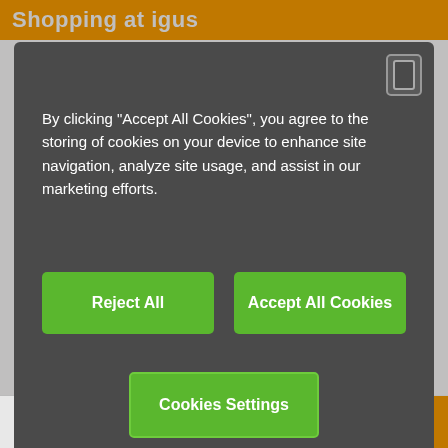Shopping at igus
By clicking “Accept All Cookies”, you agree to the storing of cookies on your device to enhance site navigation, analyze site usage, and assist in our marketing efforts.
Reject All
Accept All Cookies
Cookies Settings
Easy payment
Invoice
Prepayment
Chat Now